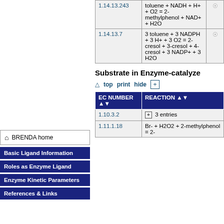| EC NUMBER | REACTION |  |
| --- | --- | --- |
| 1.14.13.243 | toluene + NADH + H+ + O2 = 2-methylphenol + NAD+ + H2O | ☉ |
| 1.14.13.7 | 3 toluene + 3 NADPH + 3 H+ + 3 O2 = 2-cresol + 3-cresol + 4-cresol + 3 NADP+ + 3 H2O | ☉ |
BRENDA home
Basic Ligand Information
Roles as Enzyme Ligand
Enzyme Kinetic Parameters
References & Links
Substrate in Enzyme-catalyze
| EC NUMBER ▲▼ | REACTION ▲▼ |
| --- | --- |
| 1.10.3.2 | ⊞ 3 entries |
| 1.11.1.18 | Br- + H2O2 + 2-methylphenol = 2- |